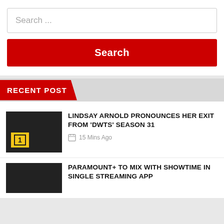Search ...
Search
RECENT POST
[Figure (screenshot): Dark thumbnail image with yellow badge showing number 1]
LINDSAY ARNOLD PRONOUNCES HER EXIT FROM 'DWTS' SEASON 31
15 Mins Ago
[Figure (screenshot): Dark thumbnail image for second post]
PARAMOUNT+ TO MIX WITH SHOWTIME IN SINGLE STREAMING APP